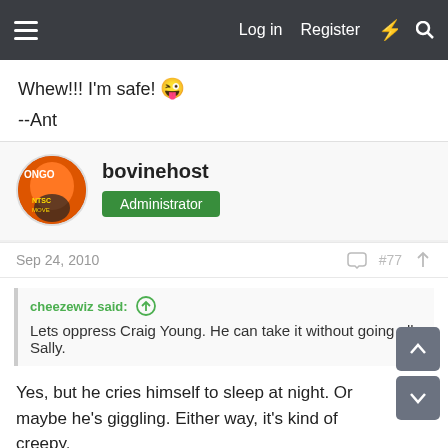Log in  Register
Whew!!! I'm safe! 😜
--Ant
bovinehost
Administrator
Sep 24, 2010
#77
cheezewiz said:
Lets oppress Craig Young. He can take it without going all Sally.
Yes, but he cries himself to sleep at night. Or maybe he's giggling. Either way, it's kind of creepy.